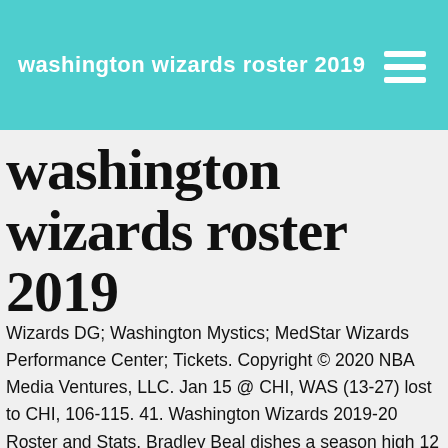washington wizards roster 2019
washington wizards roster 2019
Wizards DG; Washington Mystics; MedStar Wizards Performance Center; Tickets. Copyright © 2020 NBA Media Ventures, LLC. Jan 15 @ CHI, WAS (13-27) lost to CHI, 106-115. 41. Washington Wizards 2019-20 Roster and Stats. Bradley Beal dishes a season high 12 assists for Washington Wizards On November 11, 2019, Bradley Beal set a season high in assists in a NBA game. The team's only title was won 42 years ago when it defeated the Seattle SuperSonics led